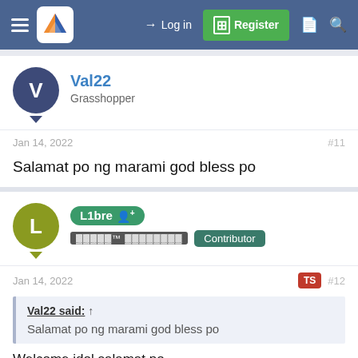Log in  Register
Val22
Grasshopper
Jan 14, 2022  #11
Salamat po ng marami god bless po
L1bre  Contributor
Jan 14, 2022  TS  #12
Val22 said: ↑
Salamat po ng marami god bless po
Welcome idol salamat po